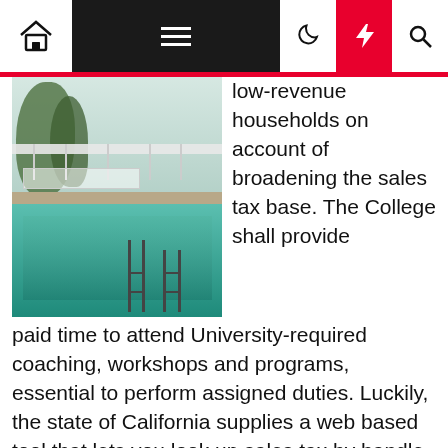Navigation bar with home, menu, moon, lightning, and search icons
[Figure (photo): Outdoor swimming pool with white fence, patio chairs, trees, and pool ladder in a backyard setting]
low-revenue households on account of broadening the sales tax base. The College shall provide paid time to attend University-required coaching, workshops and programs, essential to perform assigned duties. Luckily, the state of California supplies a web based tool that lets you look up sales tax by handle The table below contains the gross sales tax charges in all fifty eight of California's counties.
Continuation of Health Advantages – A Postdoctoral Scholar on an permitted Navy